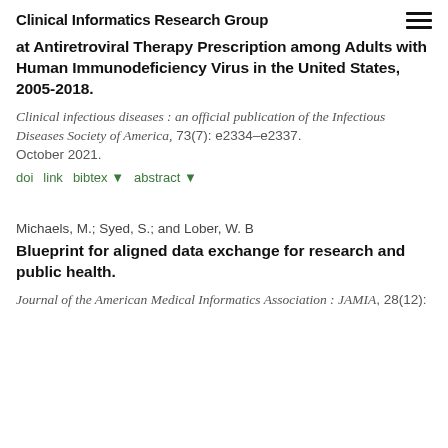Clinical Informatics Research Group
at Antiretroviral Therapy Prescription among Adults with Human Immunodeficiency Virus in the United States, 2005-2018.
Clinical infectious diseases : an official publication of the Infectious Diseases Society of America, 73(7): e2334–e2337. October 2021.
doi  link  bibtex ▾  abstract ▾
Michaels, M.; Syed, S.; and Lober, W. B
Blueprint for aligned data exchange for research and public health.
Journal of the American Medical Informatics Association : JAMIA, 28(12):